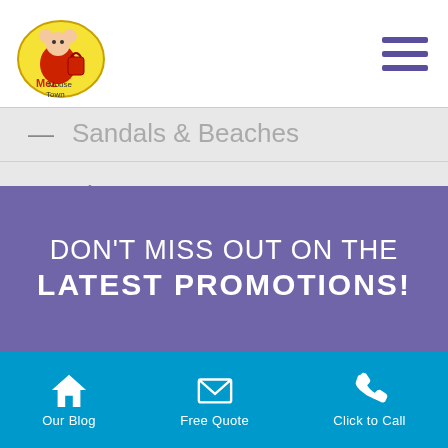[Figure (logo): Me2 Mouse Town logo — oval shape with cartoon character and red bag]
Sandals & Beaches
Tips
Universal Studios
Walt Disney World
DON'T MISS OUT ON THE LATEST PROMOTIONS!
Our Blog | Free Quote | Click to Call